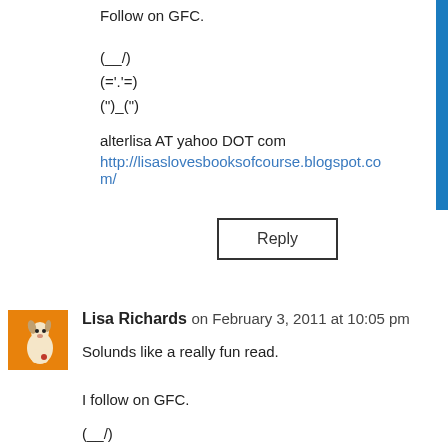Follow on GFC.
(__/)
(='.'=)
(")_(")

alterlisa AT yahoo DOT com
http://lisaslovesbooksofcourse.blogspot.com/
Reply
Lisa Richards on February 3, 2011 at 10:05 pm
Solunds like a really fun read.

I follow on GFC.

(__/)
(='.'=)